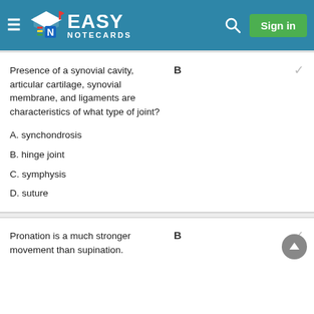Easy Notecards — Sign in
Presence of a synovial cavity, articular cartilage, synovial membrane, and ligaments are characteristics of what type of joint?
B
A. synchondrosis
B. hinge joint
C. symphysis
D. suture
Pronation is a much stronger movement than supination.
B